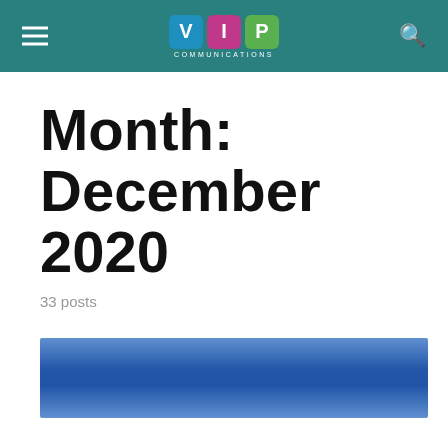VIP Communications
Month: December 2020
33 posts
[Figure (illustration): Blue horizontal banner image, resembling the blue stripe of a flag]
[Figure (illustration): Partial view of a red, white and blue flag with central emblem — appears to be the Costa Rica flag]